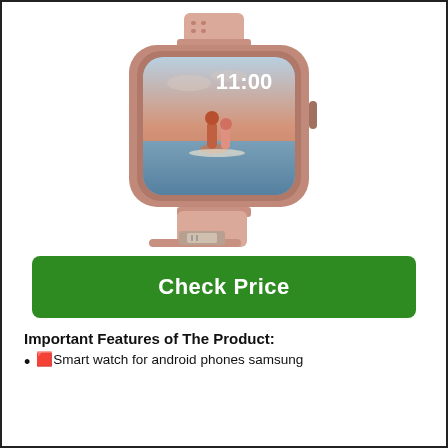[Figure (photo): Pink/rose gold smartwatch with rectangular face showing time 11:00 and a beach scene with two people surfing as the watch face wallpaper. The watch has a pink silicone band with holes and a metallic clasp.]
Check Price
Important Features of The Product:
🟥Smart watch for android phones samsung